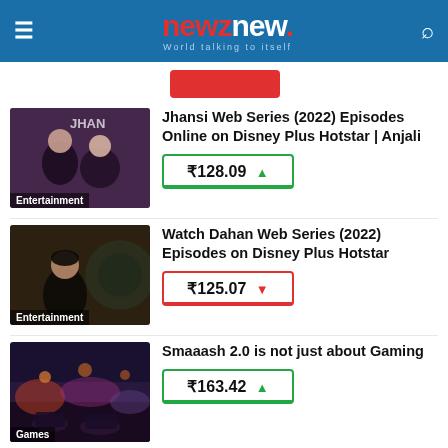newznew. World talking to itself
[Figure (screenshot): Partial red button at top of content area]
[Figure (photo): Jhansi web series thumbnail with women characters, Entertainment label]
Jhansi Web Series (2022) Episodes Online on Disney Plus Hotstar | Anjali
₹128.09 ▲
[Figure (photo): Dahan web series thumbnail with woman in dark setting, Entertainment label]
Watch Dahan Web Series (2022) Episodes on Disney Plus Hotstar
₹125.07 ▼
[Figure (photo): Smaaash gaming venue thumbnail, Games label]
Smaaash 2.0 is not just about Gaming
₹163.42 ▲